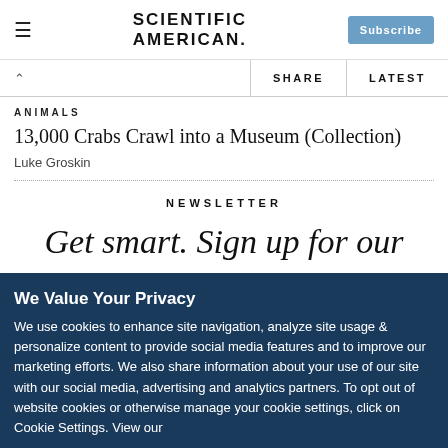SCIENTIFIC AMERICAN
ANIMALS
13,000 Crabs Crawl into a Museum (Collection)
Luke Groskin
NEWSLETTER
Get smart. Sign up for our
We Value Your Privacy
We use cookies to enhance site navigation, analyze site usage & personalize content to provide social media features and to improve our marketing efforts. We also share information about your use of our site with our social media, advertising and analytics partners. To opt out of website cookies or otherwise manage your cookie settings, click on Cookie Settings. View our